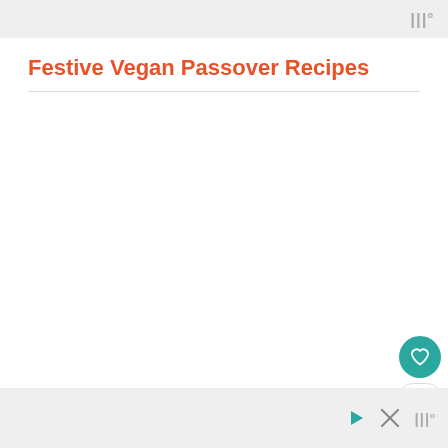|||°
Festive Vegan Passover Recipes
[Figure (other): Blank white content area placeholder for recipe images]
[Figure (other): Heart/favorite button (teal circle with heart icon), count badge showing 19, share button (circle with share icon)]
▷  ✕  |||°